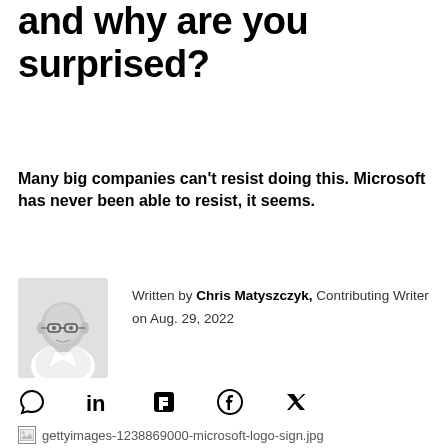and why are you surprised?
Many big companies can't resist doing this. Microsoft has never been able to resist, it seems.
Written by Chris Matyszczyk, Contributing Writer on Aug. 29, 2022
[Figure (photo): Headshot of author Chris Matyszczyk, a bald man with glasses wearing a white shirt, black and white photo]
[Figure (photo): Broken image placeholder: gettyimages-1238869000-microsoft-logo-sign.jpg]